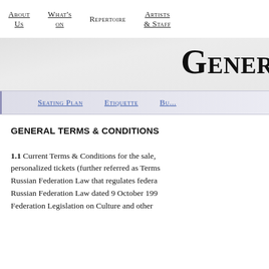About Us | What's on | Repertoire | Artists & Staff
Gene...
Seating Plan | Etiquette | Bu...
GENERAL TERMS & CONDITIONS
1.1 Current Terms & Conditions for the sale, personalized tickets (further referred as Terms Russian Federation Law that regulates federa Russian Federation Law dated 9 October 199 Federation Legislation on Culture and other...